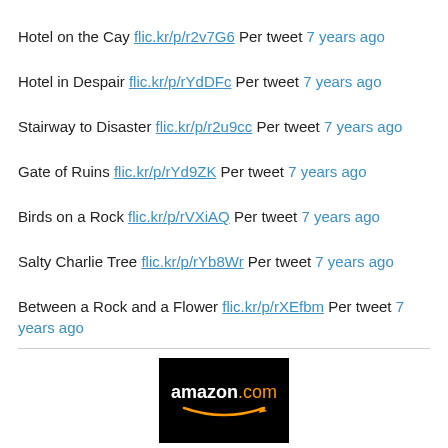Hotel on the Cay flic.kr/p/r2v7G6 Per tweet 7 years ago
Hotel in Despair flic.kr/p/rYdDFc Per tweet 7 years ago
Stairway to Disaster flic.kr/p/r2u9cc Per tweet 7 years ago
Gate of Ruins flic.kr/p/rYd9ZK Per tweet 7 years ago
Birds on a Rock flic.kr/p/rVXiAQ Per tweet 7 years ago
Salty Charlie Tree flic.kr/p/rYb8Wr Per tweet 7 years ago
Between a Rock and a Flower flic.kr/p/rXEfbm Per tweet 7 years ago
[Figure (logo): Amazon.com logo on black background with orange smile underline]